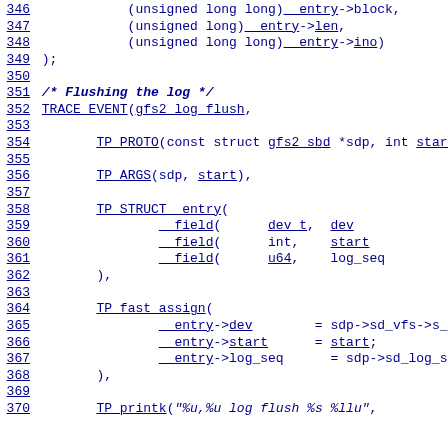346    (unsigned long long)__entry->block,
347    (unsigned long)__entry->len,
348    (unsigned long long)__entry->ino)
349 );
350
351 /* Flushing the log */
352 TRACE_EVENT(gfs2_log_flush,
353
354    TP_PROTO(const struct gfs2_sbd *sdp, int start),
355
356    TP_ARGS(sdp, start),
357
358    TP_STRUCT__entry(
359        __field(    dev_t, dev            )
360        __field(    int,   start          )
361        __field(    u64,   log_seq        )
362    ),
363
364    TP_fast_assign(
365        __entry->dev    = sdp->sd_vfs->s_dev;
366        __entry->start  = start;
367        __entry->log_seq = sdp->sd_log_sequence
368    ),
369
370    TP_printk("%u,%u log flush %s %llu",